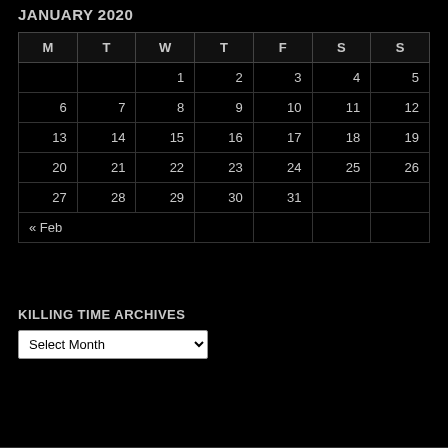JANUARY 2020
| M | T | W | T | F | S | S |
| --- | --- | --- | --- | --- | --- | --- |
|  |  | 1 | 2 | 3 | 4 | 5 |
| 6 | 7 | 8 | 9 | 10 | 11 | 12 |
| 13 | 14 | 15 | 16 | 17 | 18 | 19 |
| 20 | 21 | 22 | 23 | 24 | 25 | 26 |
| 27 | 28 | 29 | 30 | 31 |  |  |
| « Feb |  |  |  |  |  |  |
KILLING TIME ARCHIVES
Select Month